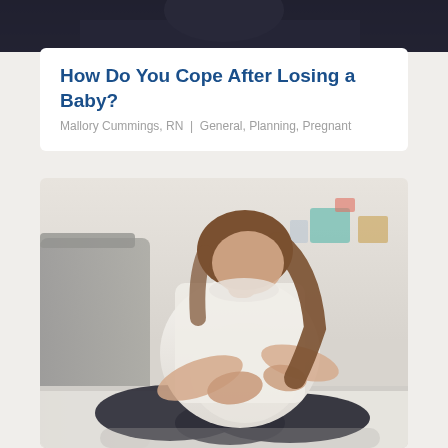[Figure (photo): Partial top strip showing a dark/blurred image at the very top of the page, cropped]
How Do You Cope After Losing a Baby?
Mallory Cummings, RN | General, Planning, Pregnant
[Figure (photo): A pregnant woman sitting cross-legged on a bed, wearing a white t-shirt and dark jeans, holding her baby bump with both hands. She has long brown hair and her face is not visible. Background shows a grey couch and soft interior setting.]